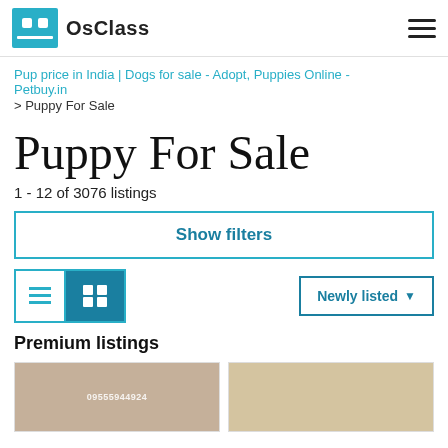OsClass
Pup price in India | Dogs for sale - Adopt, Puppies Online - Petbuy.in
> Puppy For Sale
Puppy For Sale
1 - 12 of 3076 listings
Show filters
Newly listed
Premium listings
[Figure (photo): Two thumbnail photos of puppies for sale listings]